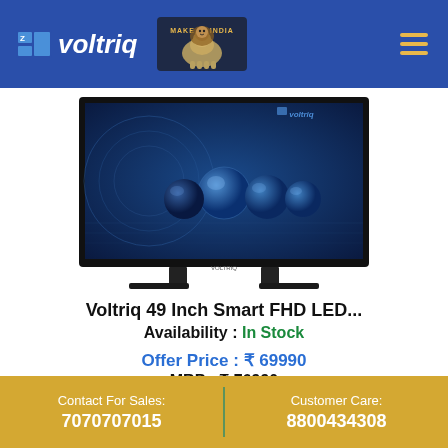Voltriq — Make in India (logo header)
[Figure (photo): Voltriq 49 inch Smart FHD LED TV product photo showing black TV with blue technology wallpaper on screen]
Voltriq 49 Inch Smart FHD LED...
Availability : In Stock
Offer Price : ₹ 69990
MRP : ₹ 76990
Contact For Sales: 7070707015 | Customer Care: 8800434308